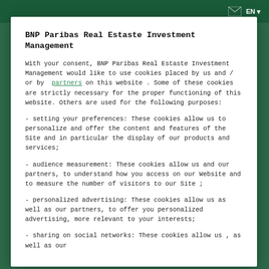EN
BNP Paribas Real Estaste Investment Management
With your consent, BNP Paribas Real Estaste Investment Management would like to use cookies placed by us and / or by partners on this website . Some of these cookies are strictly necessary for the proper functioning of this website. Others are used for the following purposes:
- setting your preferences: These cookies allow us to personalize and offer the content and features of the Site and in particular the display of our products and services;
- audience measurement: These cookies allow us and our partners, to understand how you access on our Website and to measure the number of visitors to our Site ;
- personalized advertising: These cookies allow us as well as our partners, to offer you personalized advertising, more relevant to your interests;
- sharing on social networks: These cookies allow us , as well as our